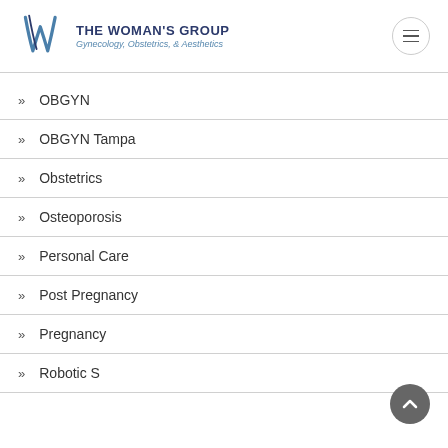[Figure (logo): The Woman's Group logo with stylized W and text 'THE WOMAN'S GROUP Gynecology, Obstetrics, & Aesthetics']
OBGYN
OBGYN Tampa
Obstetrics
Osteoporosis
Personal Care
Post Pregnancy
Pregnancy
Robotic Surgery (partial, cut off)